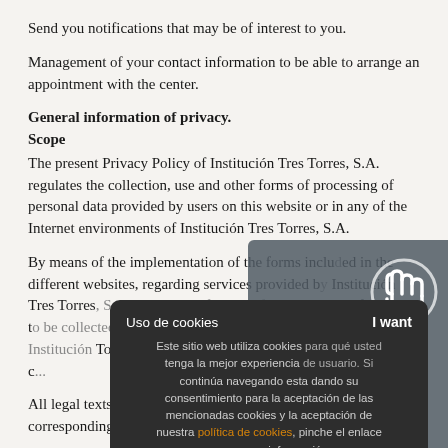Send you notifications that may be of interest to you.
Management of your contact information to be able to arrange an appointment with the center.
General information of privacy.
Scope
The present Privacy Policy of Institución Tres Torres, S.A. regulates the collection, use and other forms of processing of personal data provided by users on this website or in any of the Internet environments of Institución Tres Torres, S.A.
By means of the implementation of the forms included in the different websites, regarding services provided by Institución Tres Torres, S.A. Users are informed of the treatment of the data to be collected, of the processing of personal data, of which Institución Tres Torres, SA being able to... set forth in the following c...
All legal texts are available throughout the website of the corresponding website.
Who is responsible for the processing of your data?
[Figure (screenshot): Cookie consent overlay popup with hand cursor icon. Dark box with 'Uso de cookies' title and 'I want' button. Spanish text explaining cookie usage and 'politica de cookies' link. Black ACEPTAR button.]